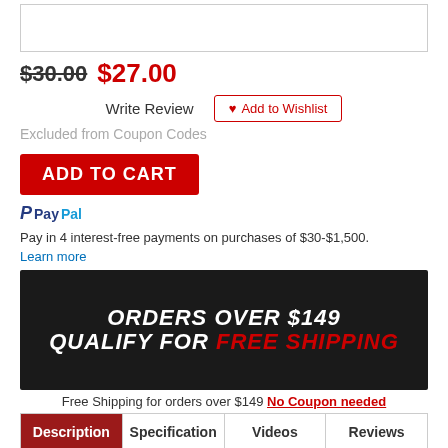[Figure (photo): Product image placeholder (white box)]
$30.00 $27.00
Write Review  ♥ Add to Wishlist
Excluded from Coupon Codes
ADD TO CART
PayPal Pay in 4 interest-free payments on purchases of $30-$1,500. Learn more
[Figure (infographic): Dark banner: ORDERS OVER $149 QUALIFY FOR FREE SHIPPING in bold white and red italic text]
Free Shipping for orders over $149 No Coupon needed
Description | Specification | Videos | Reviews | Q&A (navigation tabs)
The Sentinel Gears grenade shell is designed to work with a 40mm er airsoft grenade launcher. This shell can hold 96 rounds to at your opponents and clear rooms with ease. Take the objective knowing you have the power to take out multiple targets